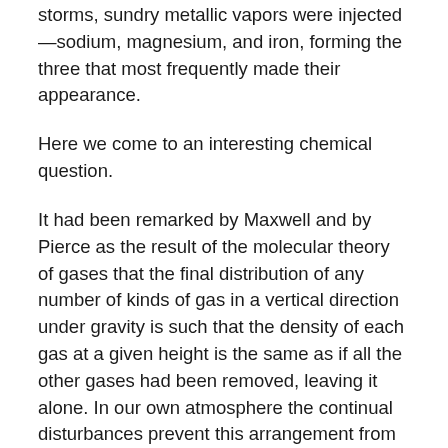storms, sundry metallic vapors were injected—sodium, magnesium, and iron, forming the three that most frequently made their appearance.
Here we come to an interesting chemical question.
It had been remarked by Maxwell and by Pierce as the result of the molecular theory of gases that the final distribution of any number of kinds of gas in a vertical direction under gravity is such that the density of each gas at a given height is the same as if all the other gases had been removed, leaving it alone. In our own atmosphere the continual disturbances prevent this arrangement from taking place, but in the sun's enormously extended atmosphere (if, indeed, our luminary be not nearly all gaseous) it appears to hold, inasmuch as the upper portion of this atmosphere, dealing with known elements, apparently consists entirely of hydrogen. Various other